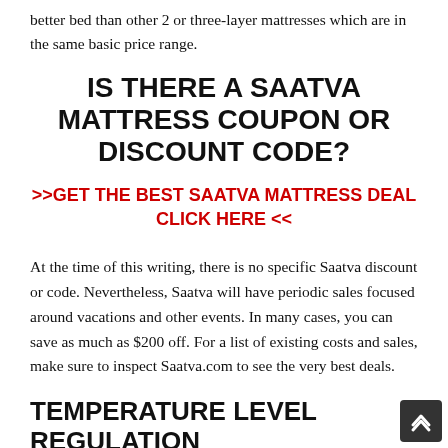better bed than other 2 or three-layer mattresses which are in the same basic price range.
IS THERE A SAATVA MATTRESS COUPON OR DISCOUNT CODE?
>>GET THE BEST SAATVA MATTRESS DEAL CLICK HERE <<
At the time of this writing, there is no specific Saatva discount or code. Nevertheless, Saatva will have periodic sales focused around vacations and other events. In many cases, you can save as much as $200 off. For a list of existing costs and sales, make sure to inspect Saatva.com to see the very best deals.
TEMPERATURE LEVEL REGULATION
Temperature regulation content continues...